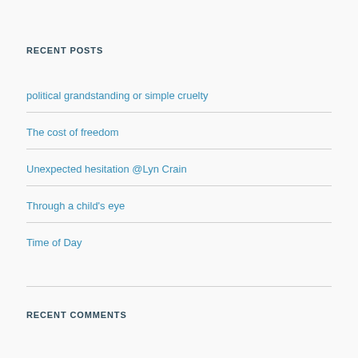RECENT POSTS
political grandstanding or simple cruelty
The cost of freedom
Unexpected hesitation @Lyn Crain
Through a child's eye
Time of Day
RECENT COMMENTS